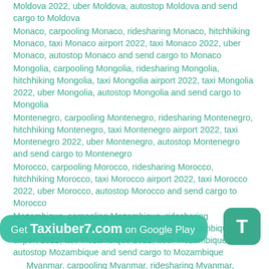Moldova 2022, uber Moldova, autostop Moldova and send cargo to Moldova
Monaco, carpooling Monaco, ridesharing Monaco, hitchhiking Monaco, taxi Monaco airport 2022, taxi Monaco 2022, uber Monaco, autostop Monaco and send cargo to Monaco
Mongolia, carpooling Mongolia, ridesharing Mongolia, hitchhiking Mongolia, taxi Mongolia airport 2022, taxi Mongolia 2022, uber Mongolia, autostop Mongolia and send cargo to Mongolia
Montenegro, carpooling Montenegro, ridesharing Montenegro, hitchhiking Montenegro, taxi Montenegro airport 2022, taxi Montenegro 2022, uber Montenegro, autostop Montenegro and send cargo to Montenegro
Morocco, carpooling Morocco, ridesharing Morocco, hitchhiking Morocco, taxi Morocco airport 2022, taxi Morocco 2022, uber Morocco, autostop Morocco and send cargo to Morocco
Mozambique, carpooling Mozambique, ridesharing Mozambique, hitchhiking Mozambique, taxi Mozambique airport 2022, taxi Mozambique 2022, uber Mozambique, autostop Mozambique and send cargo to Mozambique
Myanmar, carpooling Myanmar, ridesharing Myanmar, hitchhiking Myanmar, taxi Myanmar airport
Get Taxiuber7.com on Google Play